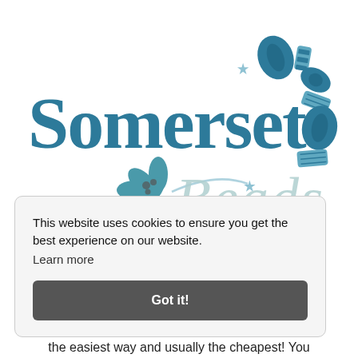[Figure (logo): Somerset Beads logo with teal/blue lettering, decorative flower element, script 'Beads' text, and decorative bead illustrations with stars in upper right]
This website uses cookies to ensure you get the best experience on our website. Learn more
Got it!
the easiest way and usually the cheapest! You